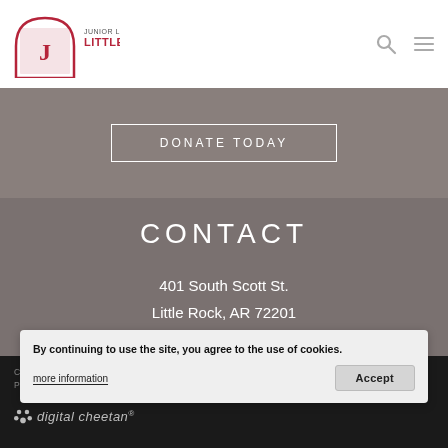Junior League of Little Rock 1922 Centennial 2022
DONATE TODAY
CONTACT
401 South Scott St.
Little Rock, AR 72201
501-375-JLLR (5557)
info@jllr.org
CONTACT US
Copyright | Privacy Statement | Shipping & Return ...
digital cheetan®
By continuing to use the site, you agree to the use of cookies.
more information
Accept